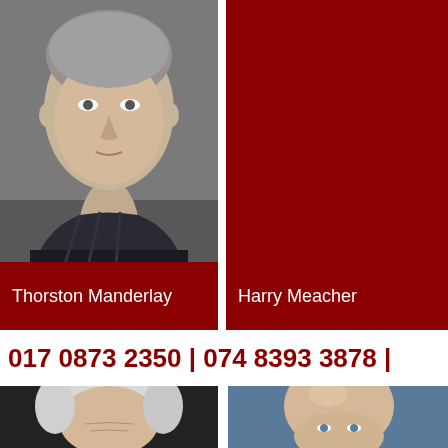[Figure (photo): Headshot of Thorston Manderlay — middle-aged man with short salt-and-pepper hair, wearing a dark plaid shirt, against a grey background]
Thorston Manderlay
[Figure (photo): Dark red/maroon background — photo area for Harry Meacher (image not visible, solid dark red)]
Harry Meacher
017 0873 2350 | 074 8393 3878 |
[Figure (photo): Headshot of an elderly man with white/silver hair, light complexion, against a dark background]
[Figure (photo): Headshot of a bald man with blue eyes against a blue background]